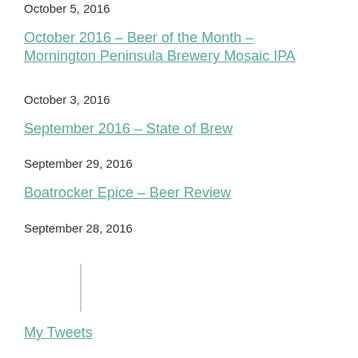October 5, 2016
October 2016 – Beer of the Month – Mornington Peninsula Brewery Mosaic IPA
October 3, 2016
September 2016 – State of Brew
September 29, 2016
Boatrocker Epice – Beer Review
September 28, 2016
My Tweets